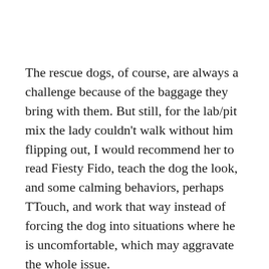The rescue dogs, of course, are always a challenge because of the baggage they bring with them. But still, for the lab/pit mix the lady couldn't walk without him flipping out, I would recommend her to read Fiesty Fido, teach the dog the look, and some calming behaviors, perhaps TTouch, and work that way instead of forcing the dog into situations where he is uncomfortable, which may aggravate the whole issue.
Anyway… that's my soapbox rant for the day!